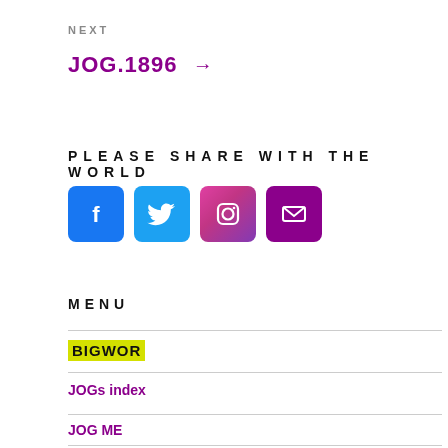NEXT
JOG.1896 →
PLEASE SHARE WITH THE WORLD
[Figure (illustration): Four social media icon buttons: Facebook (blue), Twitter (light blue), Instagram (pink/purple gradient), Email (purple)]
MENU
BIGWOR
JOGs index
JOG ME